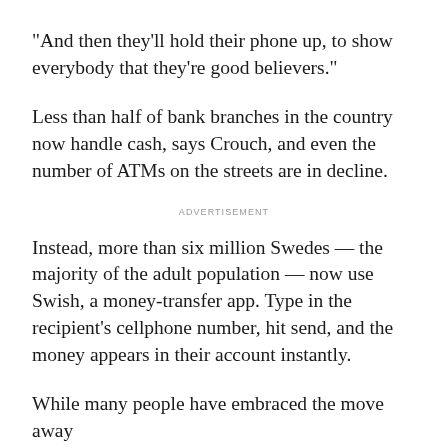"And then they'll hold their phone up, to show everybody that they're good believers."
Less than half of bank branches in the country now handle cash, says Crouch, and even the number of ATMs on the streets are in decline.
ADVERTISEMENT
Instead, more than six million Swedes — the majority of the adult population — now use Swish, a money-transfer app. Type in the recipient's cellphone number, hit send, and the money appears in their account instantly.
While many people have embraced the move away